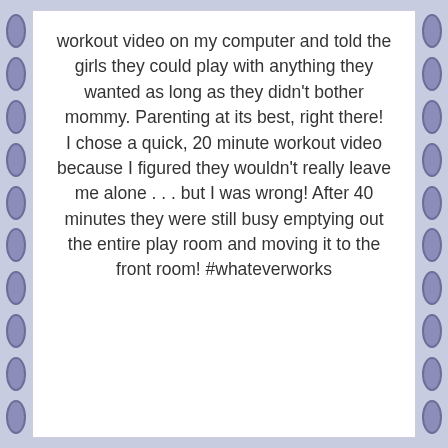workout video on my computer and told the girls they could play with anything they wanted as long as they didn't bother mommy. Parenting at its best, right there!
I chose a quick, 20 minute workout video because I figured they wouldn't really leave me alone . . . but I was wrong! After 40 minutes they were still busy emptying out the entire play room and moving it to the front room! #whateverworks